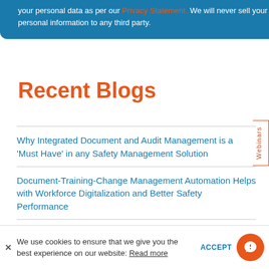your personal data as per our Privacy Statement. We will never sell your personal information to any third party.
Recent Blogs
Why Integrated Document and Audit Management is a 'Must Have' in any Safety Management Solution
Document-Training-Change Management Automation Helps with Workforce Digitalization and Better Safety Performance
5 Why vs. Pareto Chart vs. Fishbone Diagram
We use cookies to ensure that we give you the best experience on our website: Read more   ACCEPT